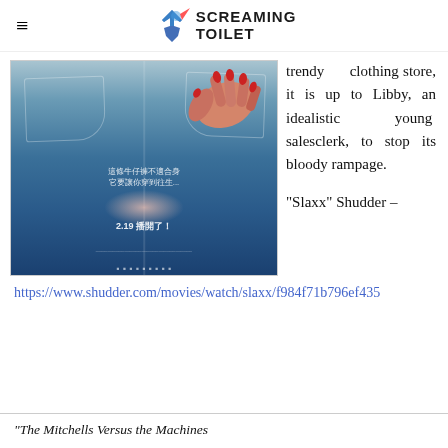SCREAMING TOILET
[Figure (photo): Movie poster for Slaxx showing close-up of jeans from behind with a hand resting on the back pocket, Chinese text overlay, date '2.19', and production logos at bottom.]
trendy clothing store, it is up to Libby, an idealistic young salesclerk, to stop its bloody rampage.
“Slaxx” Shudder –
https://www.shudder.com/movies/watch/slaxx/f984f71b796ef435
“The Mitchells Versus the Machines”